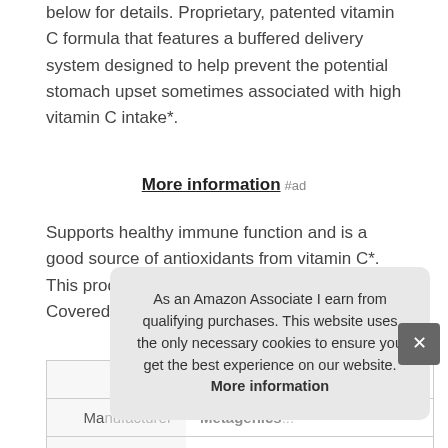below for details. Proprietary, patented vitamin C formula that features a buffered delivery system designed to help prevent the potential stomach upset sometimes associated with high vitamin C intake*.
More information #ad
Supports healthy immune function and is a good source of antioxidants from vitamin C*. This product is non-GMO and gluten-free. Covered by the metagenics, inc.
| Brand | Metagenics #ad |
| --- | --- |
| Manufacturer | Metagenics... |
As an Amazon Associate I earn from qualifying purchases. This website uses the only necessary cookies to ensure you get the best experience on our website. More information